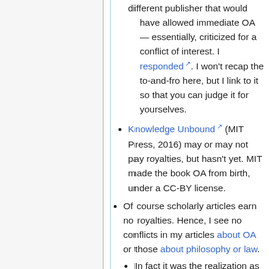different publisher that would have allowed immediate OA — essentially, criticized for a conflict of interest. I responded. I won't recap the to-and-fro here, but I link to it so that you can judge it for yourselves.
Knowledge Unbound (MIT Press, 2016) may or may not pay royalties, but hasn't yet. MIT made the book OA from birth, under a CC-BY license.
Of course scholarly articles earn no royalties. Hence, I see no conflicts in my articles about OA or those about philosophy or law.
In fact it was the realization as a young scholar that scholarly articles earned no royalties that